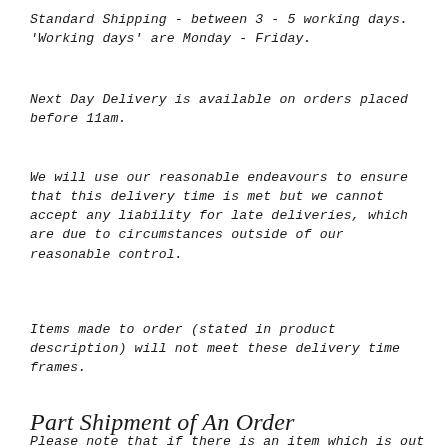Standard Shipping - between 3 - 5 working days. 'Working days' are Monday - Friday.
Next Day Delivery is available on orders placed before 11am.
We will use our reasonable endeavours to ensure that this delivery time is met but we cannot accept any liability for late deliveries, which are due to circumstances outside of our reasonable control.
Items made to order (stated in product description) will not meet these delivery time frames.
Part Shipment of An Order
Please note that if there is an item which is out of stock, but is due to arrive within 3 days, your order will be held and dispatched together. If the Next Day is selected the delivery will take place on this service once the items become available. If the delay is longer than 3 days your order will